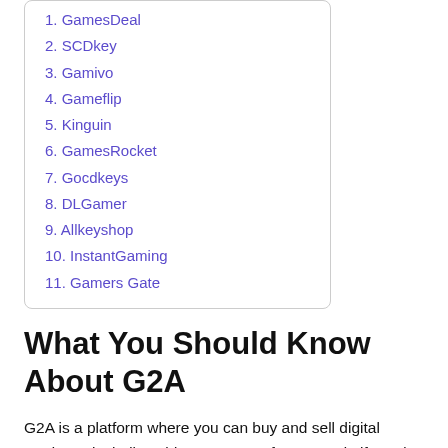1. GamesDeal
2. SCDkey
3. Gamivo
4. Gameflip
5. Kinguin
6. GamesRocket
7. Gocdkeys
8. DLGamer
9. Allkeyshop
10. InstantGaming
11. Gamers Gate
What You Should Know About G2A
G2A is a platform where you can buy and sell digital products, including video games, software, and gift cards.
One of G2A’s specialities is the sale of discounted video game products obtained via the utilization of redemption